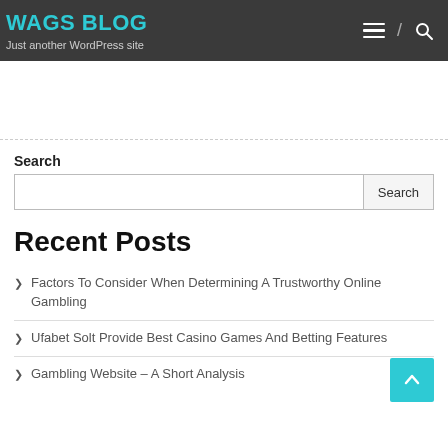WAGS BLOG — Just another WordPress site
Search
Recent Posts
Factors To Consider When Determining A Trustworthy Online Gambling
Ufabet Solt Provide Best Casino Games And Betting Features
Gambling Website – A Short Analysis